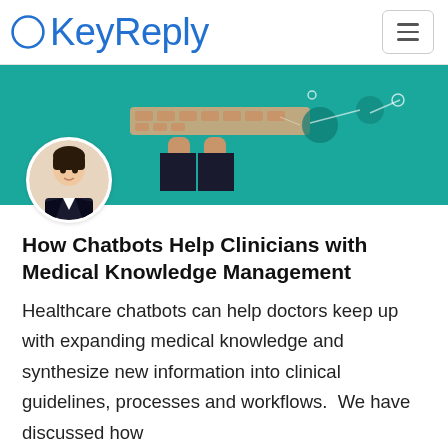KeyReply
[Figure (photo): Hero banner with teal/green background showing hands typing on a keyboard with digital connection icons, with a circular avatar photo of an Asian woman in a black blazer overlapping the bottom of the banner.]
How Chatbots Help Clinicians with Medical Knowledge Management
Healthcare chatbots can help doctors keep up with expanding medical knowledge and synthesize new information into clinical guidelines, processes and workflows.  We have discussed how